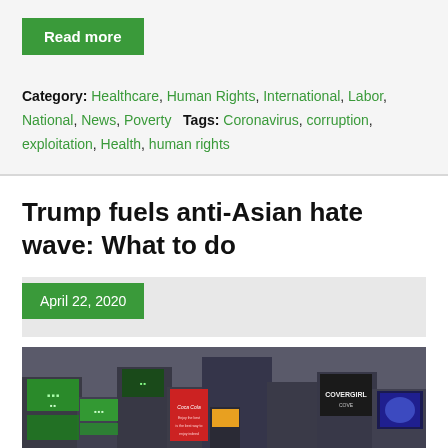Read more
Category: Healthcare, Human Rights, International, Labor, National, News, Poverty   Tags: Coronavirus, corruption, exploitation, Health, human rights
Trump fuels anti-Asian hate wave: What to do
April 22, 2020
[Figure (photo): Times Square in New York City with large digital billboards including green, red, and CoverGirl advertisements, city skyline visible.]